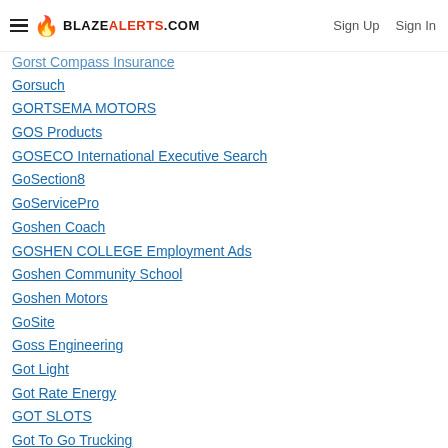BLAZEALERTS.COM | Sign Up | Sign In
Gorsuch
GORTSEMA MOTORS
GOS Products
GOSECO International Executive Search
GoSection8
GoServicePro
Goshen Coach
GOSHEN COLLEGE Employment Ads
Goshen Community School
Goshen Motors
GoSite
Goss Engineering
Got Light
Got Rate Energy
GOT SLOTS
Got To Go Trucking
Got Watts Electric
GotRackCom
Gotec
Gotham Corporate Group